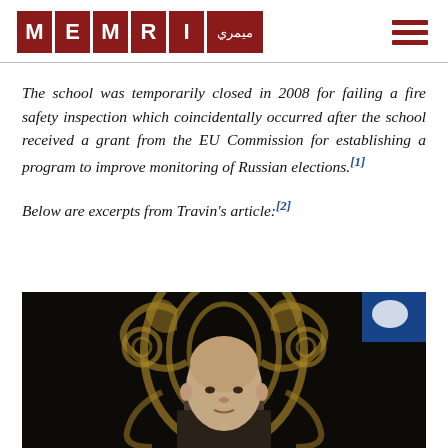MEMRI [logo with Arabic text]
The school was temporarily closed in 2008 for failing a fire safety inspection which coincidentally occurred after the school received a grant from the EU Commission for establishing a program to improve monitoring of Russian elections.[1]
Below are excerpts from Travin's article:[2]
[Figure (photo): Photo of a bald man in front of a decorative dark background with gold swirl patterns]